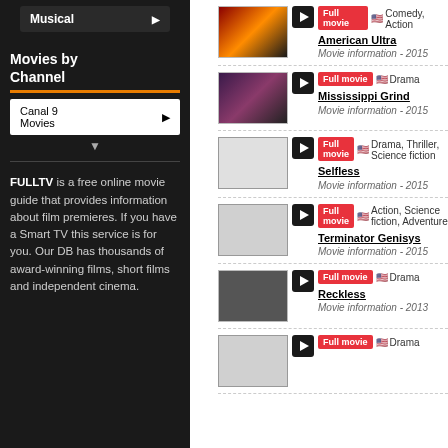Musical ▶
Movies by Channel
Canal 9 Movies ▶
FULLTV is a free online movie guide that provides information about film premieres. If you have a Smart TV this service is for you. Our DB has thousands of award-winning films, short films and independent cinema.
Full movie | American Ultra | Comedy, Action | Movie information - 2015
Full movie | Mississippi Grind | Drama | Movie information - 2015
Full movie | Selfless | Drama, Thriller, Science fiction | Movie information - 2015
Full movie | Terminator Genisys | Action, Science fiction, Adventure | Movie information - 2015
Full movie | Reckless | Drama | Movie information - 2013
Full movie | Drama